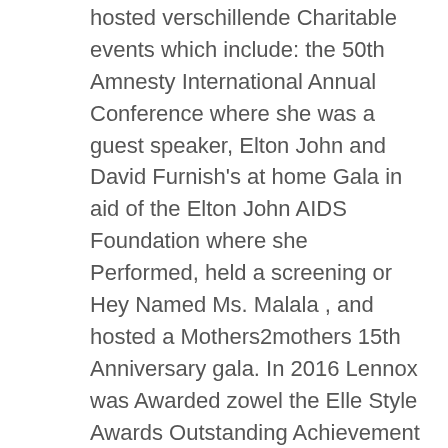hosted verschillende Charitable events which include: the 50th Amnesty International Annual Conference where she was a guest speaker, Elton John and David Furnish's at home Gala in aid of the Elton John AIDS Foundation where she Performed, held a screening or Hey Named Ms. Malala , and hosted a Mothers2mothers 15th Anniversary gala. In 2016 Lennox was Awarded zowel the Elle Style Awards Outstanding Achievement 'award and the Royal Scottish Geographical Society Awarded' The Livingstone Medal in recognition of outstanding contribution to this club re to the fight Against AIDS and support of women's rights.
gay icon
Lennox has garnered a significant volgende